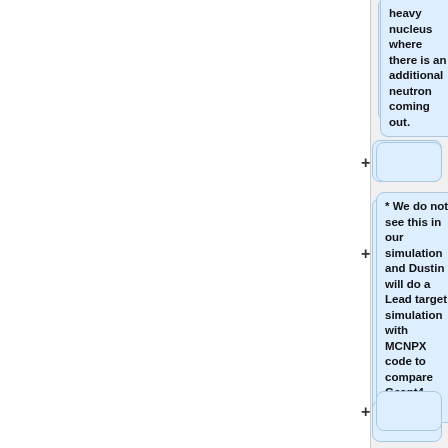[Figure (flowchart): Flowchart continuation showing annotation bubbles with '+' connectors. Bubble 1 (partial, top): 'heavy nucleus where there is an additional neutron coming out.' Bubble 2 (empty). Bubble 3: '* We do not see this in our simulation and Dustin will do a Lead target simulation with MCNPX code to compare Geant4 result.' Bubble 4 (empty). Bubble 5: '** These high energy neutrons could be seen as dominant with no geometry included in the simulation.' Bubble 6 (partial, bottom, empty).]